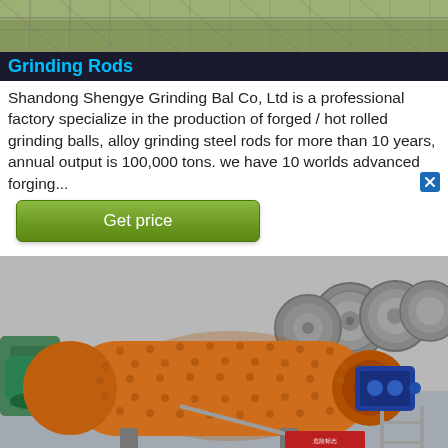[Figure (photo): Aerial/wide photo of industrial facility with steel framework structures in background]
Grinding Rods
Shandong Shengye Grinding Bal Co, Ltd is a professional factory specialize in the production of forged / hot rolled grinding balls, alloy grinding steel rods for more than 10 years, annual output is 100,000 tons. we have 10 worlds advanced forging...
[Figure (other): Green 'Get price' button]
[Figure (photo): Industrial ball mill machine in orange color in a factory setting, with spiral/disc separators visible in background]